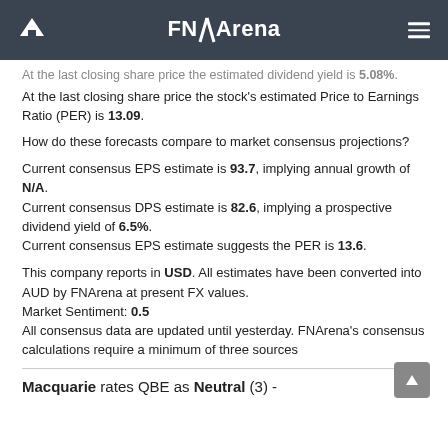FNArena
At the last closing share price the estimated dividend yield is 5.08%. At the last closing share price the stock's estimated Price to Earnings Ratio (PER) is 13.09.
How do these forecasts compare to market consensus projections?
Current consensus EPS estimate is 93.7, implying annual growth of N/A. Current consensus DPS estimate is 82.6, implying a prospective dividend yield of 6.5%. Current consensus EPS estimate suggests the PER is 13.6.
This company reports in USD. All estimates have been converted into AUD by FNArena at present FX values. Market Sentiment: 0.5 All consensus data are updated until yesterday. FNArena's consensus calculations require a minimum of three sources
Macquarie rates QBE as Neutral (3) -